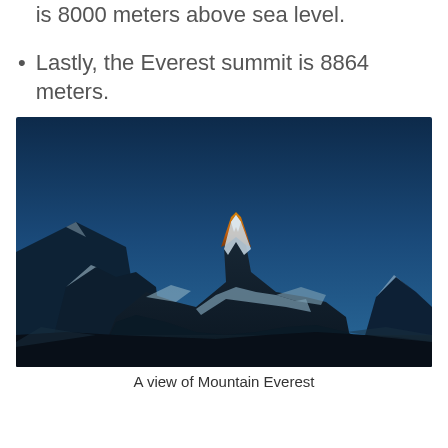Camp 4, also known as South Col, is 8000 meters above sea level.
Lastly, the Everest summit is 8864 meters.
[Figure (photo): A photograph of Mount Everest at twilight or dawn with the summit illuminated in golden/orange light against a deep blue sky, snow-covered rocky mountains in the foreground.]
A view of Mountain Everest